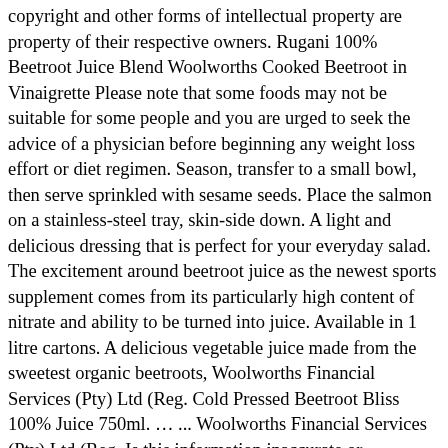copyright and other forms of intellectual property are property of their respective owners. Rugani 100% Beetroot Juice Blend Woolworths Cooked Beetroot in Vinaigrette Please note that some foods may not be suitable for some people and you are urged to seek the advice of a physician before beginning any weight loss effort or diet regimen. Season, transfer to a small bowl, then serve sprinkled with sesame seeds. Place the salmon on a stainless-steel tray, skin-side down. A light and delicious dressing that is perfect for your everyday salad. The excitement around beetroot juice as the newest sports supplement comes from its particularly high content of nitrate and ability to be turned into juice. Available in 1 litre cartons. A delicious vegetable juice made from the sweetest organic beetroots, Woolworths Financial Services (Pty) Ltd (Reg. Cold Pressed Beetroot Bliss 100% Juice 750ml. … ... Woolworths Financial Services (Pty) Ltd (Reg. Is this information inaccurate or incomplete? Beetroot juice has oxalic acid, which makes it a great juice to blend with other vegetables or fruit. R 62.99. Discover more cake recipes here. Please note that some foods may not be suitable for some people and you are urged to seek the advice of a physician before beginning any weight loss effort or diet regimen. Objetivo de calorías 1,959 cal. This button leads to the rating and reviews section lower down the page. I used the amazing Macro Organic Coconut water only available at Woolworths to add a little delicious flavour. Our Kombucha Sparkling Beetroot Flavoured Drink with Rooibos Tea is batch brewed and sweetened to create a bubbly fizz and tangy taste. Packed with goodness such as antioxidants, dietary fibre, ... Fruit Juice: 1kg $87.80 250g $28.90 500g $48.30 Bulk buy discounts will apply automatically if available. Unavailable . However, we do not guarantee that all of the published information is accurate or complete...